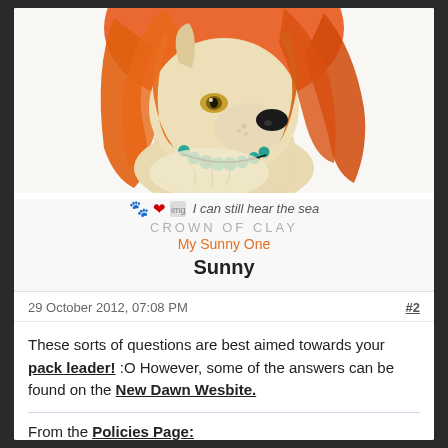[Figure (illustration): Digital artwork of an anthropomorphic wolf/dog with flowing orange-red hair, wearing a teal bead necklace, looking to the side. Sandy/cream colored fur.]
🐾 ❤ I can still hear the sea
CROWN OF CLAY
My Sunny One
Sunny
29 October 2012, 07:08 PM
#2
These sorts of questions are best aimed towards your pack leader! :O However, some of the answers can be found on the New Dawn Wesbite.
From the Policies Page: